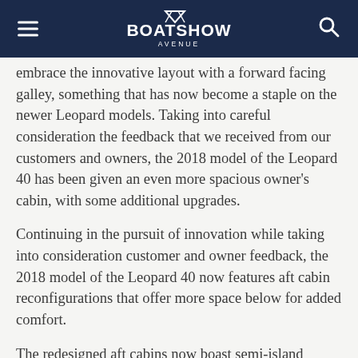Boatshow Avenue
embrace the innovative layout with a forward facing galley, something that has now become a staple on the newer Leopard models. Taking into careful consideration the feedback that we received from our customers and owners, the 2018 model of the Leopard 40 has been given an even more spacious owner's cabin, with some additional upgrades.
Continuing in the pursuit of innovation while taking into consideration customer and owner feedback, the 2018 model of the Leopard 40 now features aft cabin reconfigurations that offer more space below for added comfort.
The redesigned aft cabins now boast semi-island berths, access steps, concealed strip lighting under shelves, berths, and ceiling fixtures,and more overall space than the previous Leopard 40. The new semi-island berths also permit it